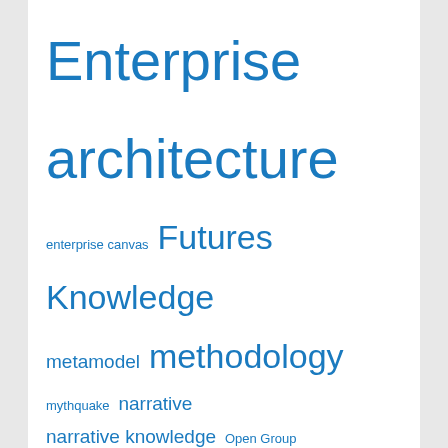[Figure (infographic): Tag cloud with blue hyperlinks of various font sizes representing topics such as Enterprise architecture, Futures, Knowledge, methodology, paradigm, responsibility, sense-making, Society, strategy, etc.]
ARCHIVES